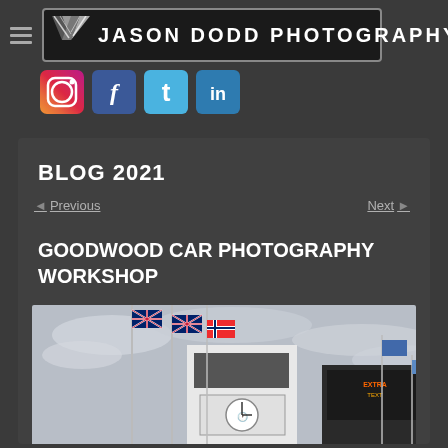[Figure (logo): Jason Dodd Photography logo banner with chevron/V graphic and text on dark background with border]
[Figure (infographic): Row of social media icons: Instagram camera icon, Facebook blue square with f, Twitter blue square with t, LinkedIn blue square with in]
BLOG 2021
◄ Previous    Next ►
GOODWOOD CAR PHOTOGRAPHY WORKSHOP
[Figure (photo): Photograph of Goodwood circuit tower building with Mintex Brake Liners signage and clock, flags flying, overcast sky]